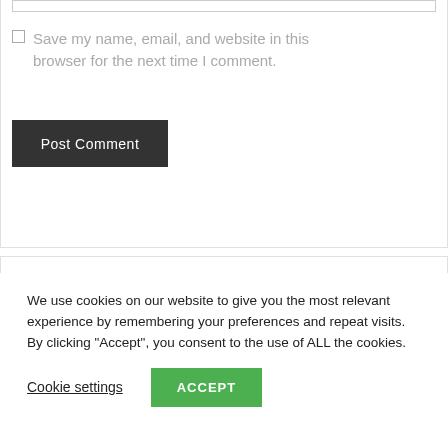Save my name, email, and website in this browser for the next time I comment.
Post Comment
We use cookies on our website to give you the most relevant experience by remembering your preferences and repeat visits. By clicking “Accept”, you consent to the use of ALL the cookies.
Cookie settings
ACCEPT